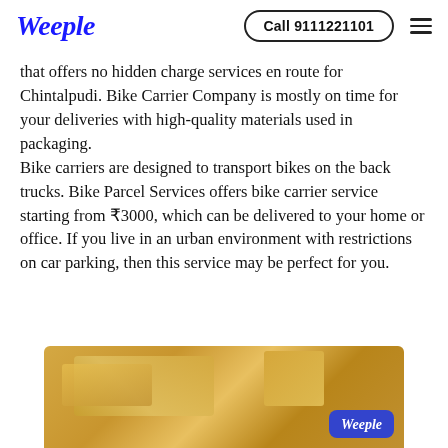Weeple | Call 9111221101
that offers no hidden charge services en route for Chintalpudi. Bike Carrier Company is mostly on time for your deliveries with high-quality materials used in packaging. Bike carriers are designed to transport bikes on the back trucks. Bike Parcel Services offers bike carrier service starting from ₹3000, which can be delivered to your home or office. If you live in an urban environment with restrictions on car parking, then this service may be perfect for you.
[Figure (photo): Photo of a packaged item wrapped in brown tape/plastic, with a blue Weeple branded logo overlay in the bottom right corner]